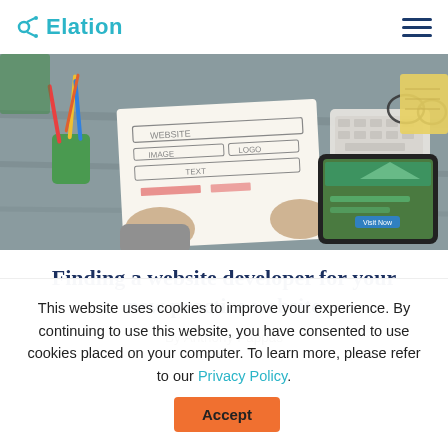Elation
[Figure (photo): Overhead photo of a desk showing hands holding a website wireframe sketch on paper, a tablet displaying a website, a keyboard, pencils in a cup, glasses, and yellow notepad.]
Finding a website developer for your new practice website
By Anthony Pappas
This website uses cookies to improve your experience. By continuing to use this website, you have consented to use cookies placed on your computer. To learn more, please refer to our Privacy Policy.